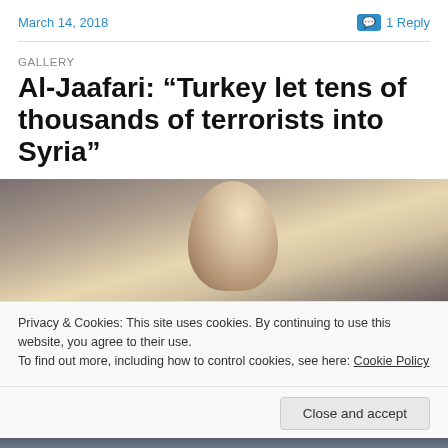March 14, 2018
1 Reply
GALLERY
Al-Jaafari: “Turkey let tens of thousands of terrorists into Syria”
[Figure (photo): Close-up photograph of an older man, viewed from behind/side, showing the back of his head with grey/white hair against a light background.]
Privacy & Cookies: This site uses cookies. By continuing to use this website, you agree to their use.
To find out more, including how to control cookies, see here: Cookie Policy
Close and accept
[Figure (photo): Bottom portion of a photograph showing a person.]